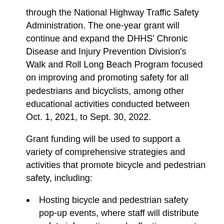through the National Highway Traffic Safety Administration. The one-year grant will continue and expand the DHHS' Chronic Disease and Injury Prevention Division's Walk and Roll Long Beach Program focused on improving and promoting safety for all pedestrians and bicyclists, among other educational activities conducted between Oct. 1, 2021, to Sept. 30, 2022.
Grant funding will be used to support a variety of comprehensive strategies and activities that promote bicycle and pedestrian safety, including:
Hosting bicycle and pedestrian safety pop-up events, where staff will distribute safety information and reflective gear at street intersections frequently traveled by pedestrians and bicyclists.
Facilitating in-person and/or virtual walking workshops for older adults to provide strategies to